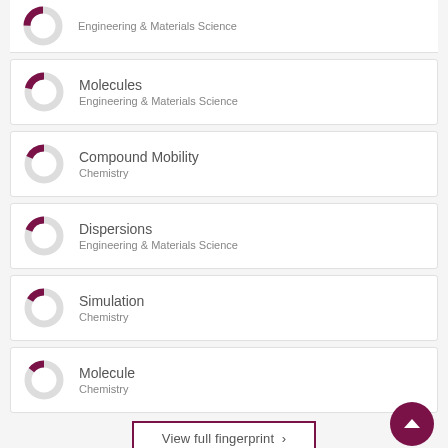[Figure (donut-chart): Donut chart showing small filled arc in dark red/maroon on grey background]
Engineering & Materials Science
[Figure (donut-chart): Donut chart showing small filled arc in dark red/maroon]
Molecules
Engineering & Materials Science
[Figure (donut-chart): Donut chart showing small filled arc in dark red/maroon]
Compound Mobility
Chemistry
[Figure (donut-chart): Donut chart showing small filled arc in dark red/maroon]
Dispersions
Engineering & Materials Science
[Figure (donut-chart): Donut chart showing small filled arc in dark red/maroon]
Simulation
Chemistry
[Figure (donut-chart): Donut chart showing small filled arc in dark red/maroon]
Molecule
Chemistry
View full fingerprint >